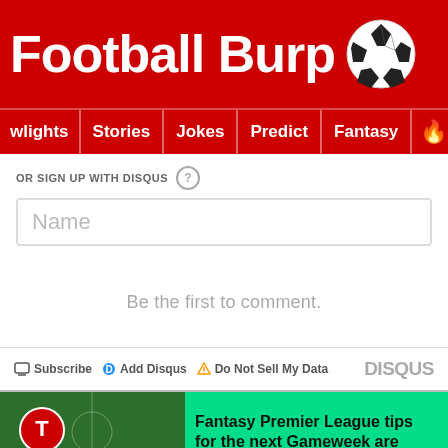Football Burp
wlights | Stories | Jokes | Predict | Fantasy
OR SIGN UP WITH DISQUS
Name
Be the first to comment.
Subscribe  Add Disqus  Do Not Sell My Data  DISQUS
Fantasy Premier League tips for the next Gameweek are
12 Shares